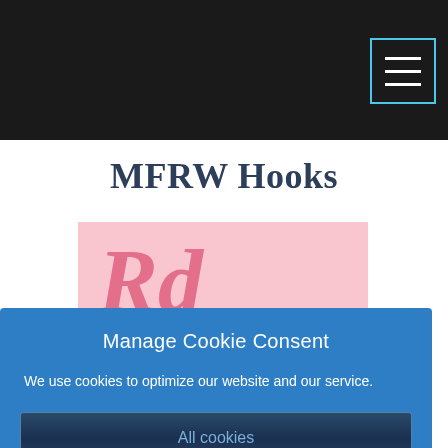[Figure (screenshot): Black top navigation bar with hamburger menu icon in top-right corner with cyan border]
MFRW Hooks
[Figure (logo): Pink background logo with pink italic script letter 'R' partially visible]
Manage Cookie Consent
We use cookies to optimize our website and our service.
All cookies
Deny
Cookie policy